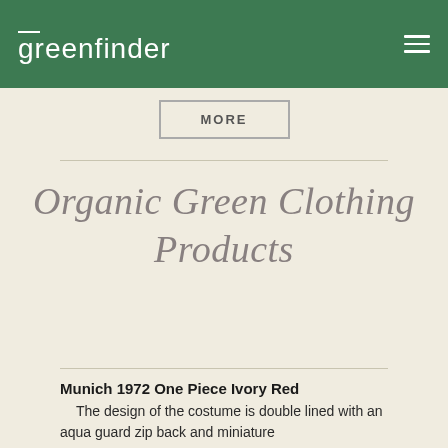greenfinder
MORE
Organic Green Clothing Products
Munich 1972 One Piece Ivory Red
The design of the costume is double lined with an aqua guard zip back and miniature